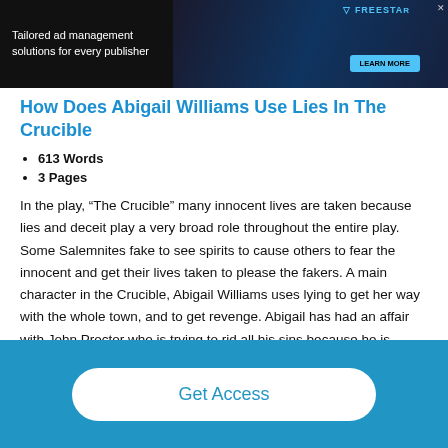[Figure (screenshot): Advertisement banner for Freestar ad management with dark background, green character graphic, and 'Learn More' button]
How Does Abigail Williams Use Lies In The Crucible
613 Words
3 Pages
In the play, “The Crucible” many innocent lives are taken because lies and deceit play a very broad role throughout the entire play. Some Salemnites fake to see spirits to cause others to fear the innocent and get their lives taken to please the fakers. A main character in the Crucible, Abigail Williams uses lying to get her way with the whole town, and to get revenge. Abigail has had an affair with John Proctor who is trying to rid all his sins because he is aware of all his
Get Access